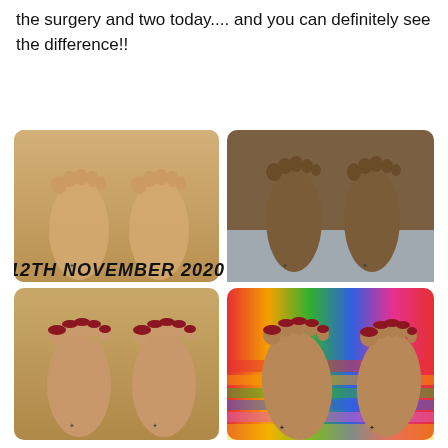the surgery and two today.... and you can definitely see the difference!!
[Figure (photo): Four-panel before/after photo comparison of two feet. Top row labeled '12TH NOVEMBER 2020': left shows two bare feet with wide-spread toes on a wooden floor with small tattoos visible; right shows two bare feet elevated against a white/grey background, darker in tone. Bottom row (after): left shows two feet with dark red nail polish viewed from above on a wooden floor; right shows two feet with dark red nail polish viewed from slightly above on a colorful striped towel/mat background.]